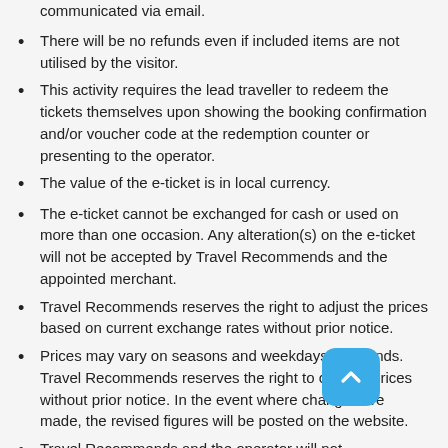communicated via email.
There will be no refunds even if included items are not utilised by the visitor.
This activity requires the lead traveller to redeem the tickets themselves upon showing the booking confirmation and/or voucher code at the redemption counter or presenting to the operator.
The value of the e-ticket is in local currency.
The e-ticket cannot be exchanged for cash or used on more than one occasion. Any alteration(s) on the e-ticket will not be accepted by Travel Recommends and the appointed merchant.
Travel Recommends reserves the right to adjust the prices based on current exchange rates without prior notice.
Prices may vary on seasons and weekdays/weekends. Travel Recommends reserves the right to change prices without prior notice. In the event where changes are made, the revised figures will be posted on the website.
Travel Recommends and the operator will not be responsible for any accidents, loss of property or damaged caused by individual